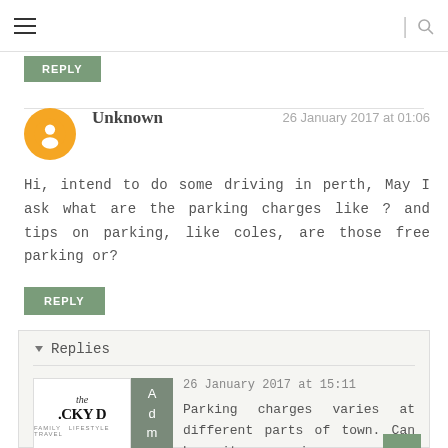≡  |  🔍
REPLY (partial, cut off at top)
Unknown   26 January 2017 at 01:06
Hi, intend to do some driving in perth, May I ask what are the parking charges like ? and tips on parking, like coles, are those free parking or?
REPLY
▼  Replies
Admin TWD   26 January 2017 at 15:11
Parking charges varies at different parts of town. Can be quite expensive;